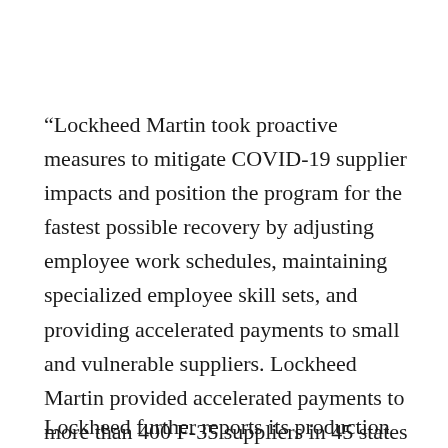“Lockheed Martin took proactive measures to mitigate COVID-19 supplier impacts and position the program for the fastest possible recovery by adjusting employee work schedules, maintaining specialized employee skill sets, and providing accelerated payments to small and vulnerable suppliers. Lockheed Martin provided accelerated payments to more than 400 F-35 suppliers in 45 states and Puerto Rico,” the Lockheed essay says.
Lockheed further reports its production